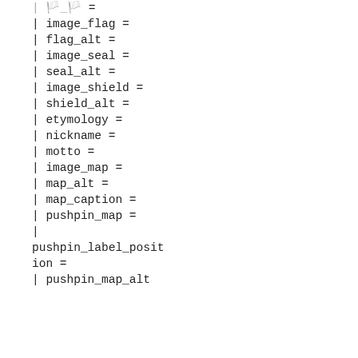| 🏳️_🏳️ =
| image_flag =
| flag_alt =
| image_seal =
| seal_alt =
| image_shield =
| shield_alt =
| etymology =
| nickname =
| motto =
| image_map =
| map_alt =
| map_caption =
| pushpin_map =
|
pushpin_label_position =
| pushpin_map_alt =